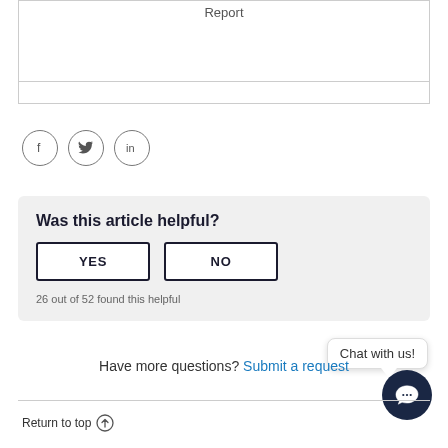Report
[Figure (illustration): Social sharing icons: Facebook (f), Twitter (bird), LinkedIn (in) in circles]
Was this article helpful?
YES | NO
26 out of 52 found this helpful
Chat with us!
Have more questions? Submit a request
Return to top